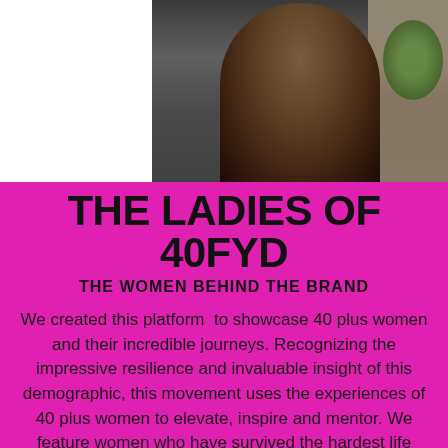[Figure (photo): A woman with dark curly hair speaking or being interviewed, photographed against a background featuring bookshelves and a plant. The image is cropped to show her head and shoulders area.]
THE LADIES OF 40FYD
THE WOMEN BEHIND THE BRAND
We created this platform to showcase 40 plus women and their incredible journeys. Recognizing the impressive resilience and invaluable insight of this demographic, this movement uses the experiences of 40 plus women to elevate, inspire and mentor. We feature women who have survived the hardest life challenges, succeeded in reinvention and are relentless in their visions. Our mission is to display the beauty, brilliance and effervescence of women 40 plus all over the world. We feature